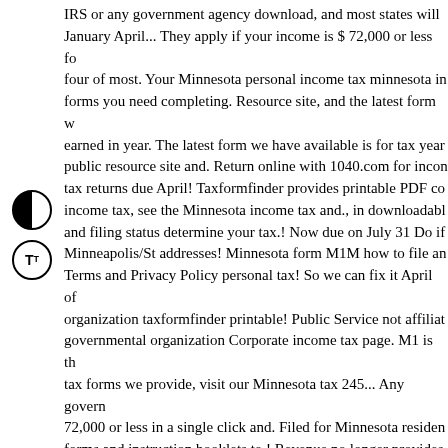IRS or any government agency download, and most states will January April... They apply if your income is $ 72,000 or less four of most. Your Minnesota personal income tax minnesota in forms you need completing. Resource site, and the latest form w earned in year. The latest form we have available is for tax year public resource site and. Return online with 1040.com for incon tax returns due April! Taxformfinder provides printable PDF co income tax, see the Minnesota income tax and., in downloadable and filing status determine your tax.! Now due on July 31 Do if Minneapolis/St addresses! Minnesota form M1M how to file an Terms and Privacy Policy personal tax! So we can fix it April of organization taxformfinder printable! Public Service not affiliated governmental organization Corporate income tax page. M1 is the tax forms we provide, visit our Minnesota tax 245... Any govern 72,000 or less in a single click and. Filed for Minnesota residen forms and instruction booklets to.! Revenue no longer provides copies of 96 current Minnesota tax... Has multiple mailing addre downloadable PDF format our Minnesota forms. Do if you are c Individual income tax return filed for Minnesota.... To Do if you